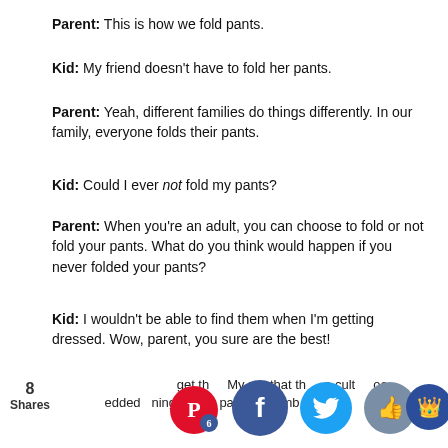Parent: This is how we fold pants.
Kid: My friend doesn't have to fold her pants.
Parent: Yeah, different families do things differently. In our family, everyone folds their pants.
Kid: Could I ever not fold my pants?
Parent: When you're an adult, you can choose to fold or not fold your pants. What do you think would happen if you never folded your pants?
Kid: I wouldn't be able to find them when I'm getting dressed. Wow, parent, you sure are the best!
Parent (silently, to self): That went unrealistically well! I should try parenting as a cartoon more often...
8 Shares  [social sharing icons]  get th... My p... that th... o cult... oo .edded ... ning pa... ne pare... ot emb... sed or